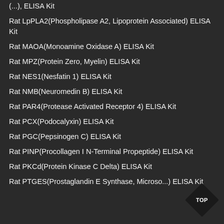Rat LpPLA2(Phospholipase A2, Lipoprotein Associated) ELISA Kit
Rat MAOA(Monoamine Oxidase A) ELISA Kit
Rat MPZ(Protein Zero, Myelin) ELISA Kit
Rat NES1(Nesfatin 1) ELISA Kit
Rat NMB(Neuromedin B) ELISA Kit
Rat PAR4(Protease Activated Receptor 4) ELISA Kit
Rat PCX(Podocalyxin) ELISA Kit
Rat PGC(Pepsinogen C) ELISA Kit
Rat PINP(Procollagen I N-Terminal Propeptide) ELISA Kit
Rat PKCd(Protein Kinase C Delta) ELISA Kit
Rat PTGES(Prostaglandin E Synthase, Microso... ELISA Kit